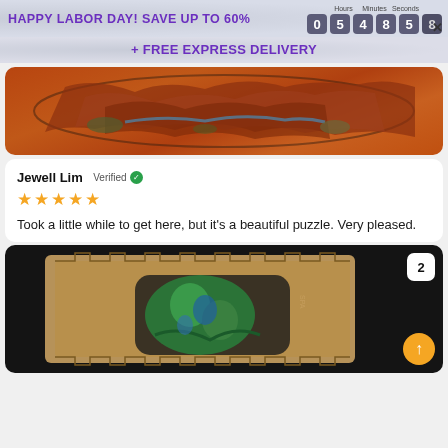HAPPY LABOR DAY! SAVE UP TO 60%  Hours 0 5  Minutes 4 8  Seconds 5 8
+ FREE EXPRESS DELIVERY
[Figure (photo): Partial view of a completed colorful mosaic/landscape puzzle with oranges, reds, and earth tones on an orange background]
Jewell Lim  Verified
★★★★★
Took a little while to get here, but it's a beautiful puzzle. Very pleased.
[Figure (photo): Photo of a wooden puzzle box/tray on a dark background showing a colorful assembled puzzle with green and blue tones; badge showing number 2 in top right corner]